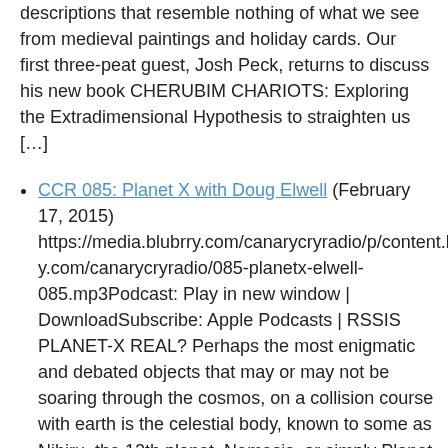descriptions that resemble nothing of what we see from medieval paintings and holiday cards. Our first three-peat guest, Josh Peck, returns to discuss his new book CHERUBIM CHARIOTS: Exploring the Extradimensional Hypothesis to straighten us […]
CCR 085: Planet X with Doug Elwell (February 17, 2015) https://media.blubrry.com/canarycryradio/p/content.blubrry.com/canarycryradio/085-planetx-elwell-085.mp3Podcast: Play in new window | DownloadSubscribe: Apple Podcasts | RSSIS PLANET-X REAL? Perhaps the most enigmatic and debated objects that may or may not be soaring through the cosmos, on a collision course with earth is the celestial body, known to some as Nibiru, the 12th planet, Nemesis, or simply Planet X. On this […]
CCR 081: The Portent with Dr. Michael Heiser (December 20, 2014) https://media.blubrry.com/canarycryradio/p/content.blubrry.com/canarycryradio/ccr-081-drmsh.mp3Podcast: Play in